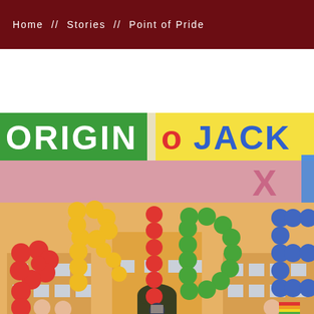Home // Stories // Point of Pride
[Figure (photo): A colorful Pride event photo showing large balloon letters spelling 'PRIDE' in front of a university building. The letters are made of red, yellow, and green balloons. In the background is a brick university building with an arched entrance. People are visible in the foreground and to the sides. The top portion shows colorful banners and signs with partial text 'ORIGIN' and 'JACK'. The overall image has a vibrant, pop-art color treatment.]